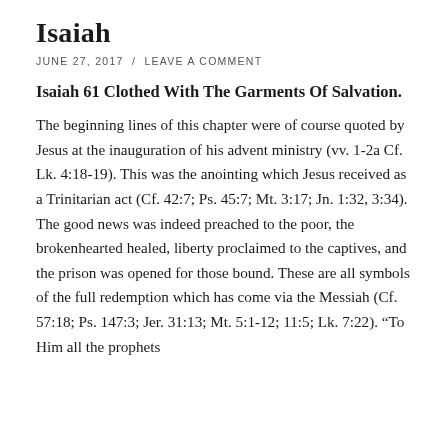Isaiah
JUNE 27, 2017  /  LEAVE A COMMENT
Isaiah 61 Clothed With The Garments Of Salvation.
The beginning lines of this chapter were of course quoted by Jesus at the inauguration of his advent ministry (vv. 1-2a Cf. Lk. 4:18-19). This was the anointing which Jesus received as a Trinitarian act (Cf. 42:7; Ps. 45:7; Mt. 3:17; Jn. 1:32, 3:34). The good news was indeed preached to the poor, the brokenhearted healed, liberty proclaimed to the captives, and the prison was opened for those bound. These are all symbols of the full redemption which has come via the Messiah (Cf. 57:18; Ps. 147:3; Jer. 31:13; Mt. 5:1-12; 11:5; Lk. 7:22). “To Him all the prophets